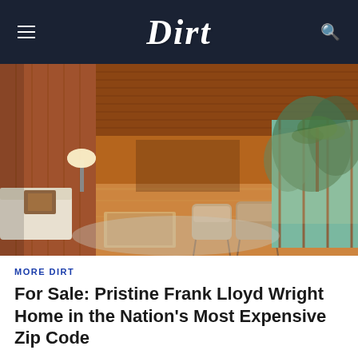Dirt
[Figure (photo): Interior photo of a Frank Lloyd Wright mid-century modern home showing a living room with wood-paneled ceiling, polished hardwood floors, furniture including a white sofa, wooden chairs, and a low coffee table, with large floor-to-ceiling windows overlooking lush greenery outside.]
MORE DIRT
For Sale: Pristine Frank Lloyd Wright Home in the Nation's Most Expensive Zip Code
JUN 2, 2022 3:52 PM PT